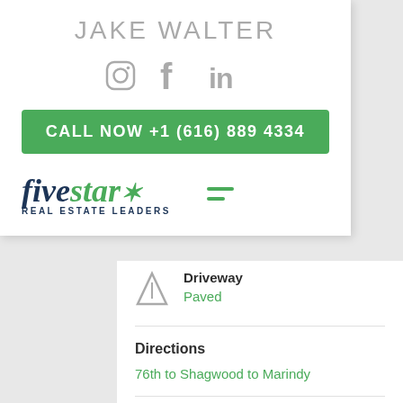JAKE WALTER
[Figure (infographic): Social media icons: Instagram, Facebook, LinkedIn]
CALL NOW +1 (616) 889 4334
[Figure (logo): Five Star Real Estate Leaders logo with hamburger menu icon]
Driveway
Paved
Directions
76th to Shagwood to Marindy
Appliances